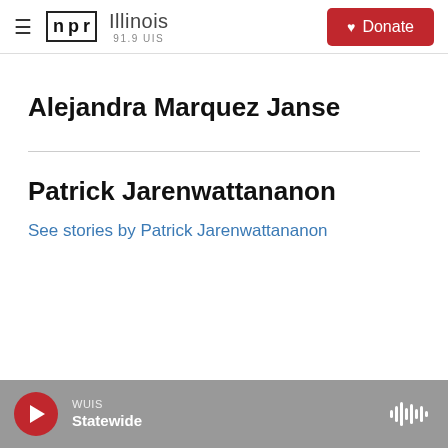NPR Illinois 91.9 UIS | Donate
Alejandra Marquez Janse
Patrick Jarenwattananon
See stories by Patrick Jarenwattananon
WUIS Statewide